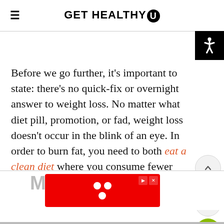GET HEALTHY U
Before we go further, it’s important to state: there’s no quick-fix or overnight answer to weight loss. No matter what diet pill, promotion, or fad, weight loss doesn’t occur in the blink of an eye. In order to burn fat, you need to both eat a clean diet where you consume fewer calories than you burn during the day, and you need to workout.
[Figure (screenshot): Red advertisement banner with white dot pattern (Yummly-style ad), positioned at bottom of page. Includes play/close controls in top right corner of ad.]